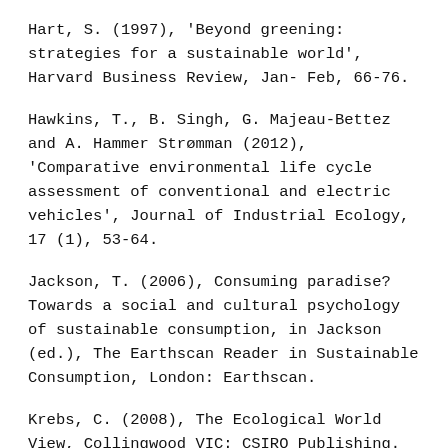Hart, S. (1997), 'Beyond greening: strategies for a sustainable world', Harvard Business Review, Jan- Feb, 66-76.
Hawkins, T., B. Singh, G. Majeau-Bettez and A. Hammer Strømman (2012), 'Comparative environmental life cycle assessment of conventional and electric vehicles', Journal of Industrial Ecology, 17 (1), 53-64.
Jackson, T. (2006), Consuming paradise? Towards a social and cultural psychology of sustainable consumption, in Jackson (ed.), The Earthscan Reader in Sustainable Consumption, London: Earthscan.
Krebs, C. (2008), The Ecological World View, Collingwood VIC: CSIRO Publishing.